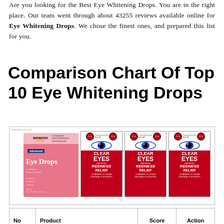Are you looking for the Best Eye Whitening Drops. You are in the right place. Our team went through about 43255 reviews available online for Eye Whitening Drops. We chose the finest ones, and prepared this list for you.
Comparison Chart Of Top 10 Eye Whitening Drops
[Figure (photo): Three product images side by side: Amazon Eye Drops pink box (Advanced, 0.5 FL OZ), Collyre Bleu Laiter eye drop bottle with dropper, and three Clear Eyes Maximum Redness Relief boxes in red and white.]
| No | Product | Score | Action |
| --- | --- | --- | --- |